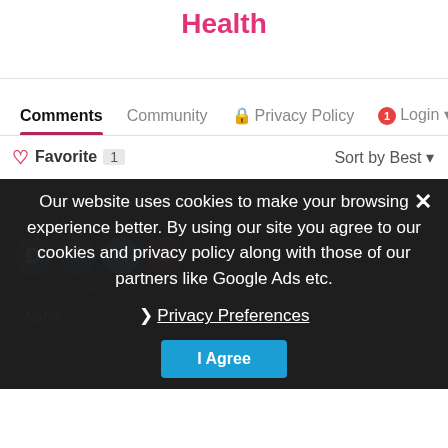Health
Comments   Community   🔒 Privacy Policy   🔴 1   Login ▾
♡ Favorite  1   Sort by Best ▾
Start the discussion…
LOG IN WITH
OR SIGN UP WITH DISQUS ?
Name
Our website uses cookies to make your browsing experience better. By using our site you agree to our cookies and privacy policy along with those of our partners like Google Ads etc.
❯ Privacy Preferences
I Agree